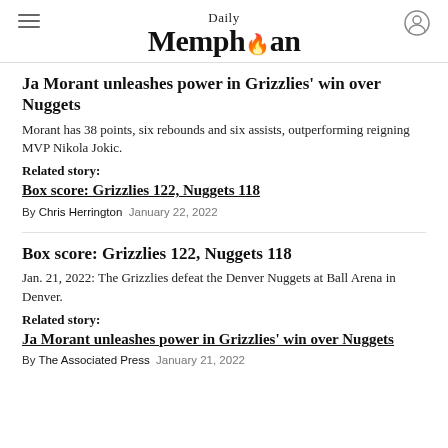Daily Memphian
Ja Morant unleashes power in Grizzlies' win over Nuggets
Morant has 38 points, six rebounds and six assists, outperforming reigning MVP Nikola Jokic.
Related story:
Box score: Grizzlies 122, Nuggets 118
By Chris Herrington  January 22, 2022
Box score: Grizzlies 122, Nuggets 118
Jan. 21, 2022: The Grizzlies defeat the Denver Nuggets at Ball Arena in Denver.
Related story:
Ja Morant unleashes power in Grizzlies' win over Nuggets
By The Associated Press  January 21, 2022